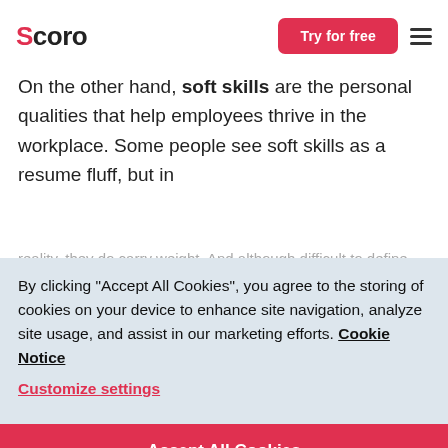Scoro | Try for free
On the other hand, soft skills are the personal qualities that help employees thrive in the workplace. Some people see soft skills as a resume fluff, but in reality, they do carry weight. And although difficult to define, they are all related to how project managers interact with their clients, team members, and organize their work.
By clicking "Accept All Cookies", you agree to the storing of cookies on your device to enhance site navigation, analyze site usage, and assist in our marketing efforts. Cookie Notice
Customize settings
Accept All Cookies
Hard skills